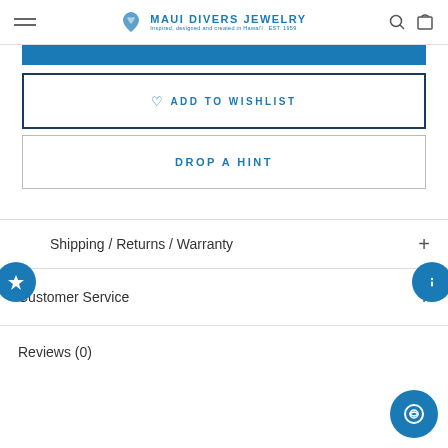Maui Divers Jewelry — Inspired, designed and created in Hawai'i EST. 1959
ADD TO WISHLIST
DROP A HINT
Shipping / Returns / Warranty
Customer Service
Reviews (0)